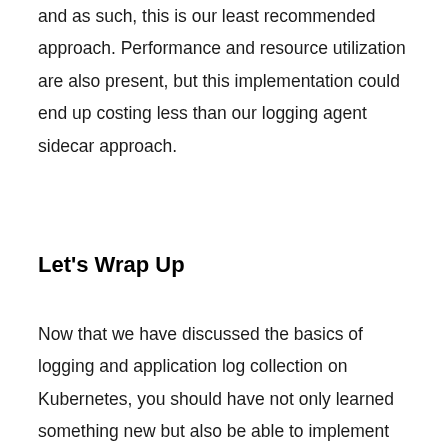and as such, this is our least recommended approach. Performance and resource utilization are also present, but this implementation could end up costing less than our logging agent sidecar approach.
Let's Wrap Up
Now that we have discussed the basics of logging and application log collection on Kubernetes, you should have not only learned something new but also be able to implement whichever strategy fills your own application logging needs.